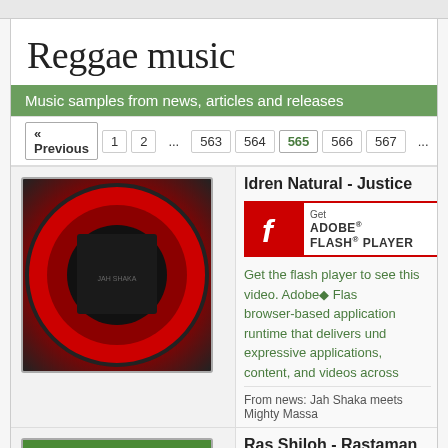Reggae music
Music samples from news, articles and releases
« Previous  1  2  ...  563  564  565  566  567  ...
ldren Natural - Justice
[Figure (screenshot): Get Adobe Flash Player banner with red Flash logo]
Get the flash player to see this video. Adobe® Flas... browser-based application runtime that delivers und... expressive applications, content, and videos across...
From news: Jah Shaka meets Mighty Massa
Ras Shiloh - Rastaman To Africa
[Figure (screenshot): Get Adobe Flash Player banner with red Flash logo]
Get the flash player to see this video. Adobe® Fla...